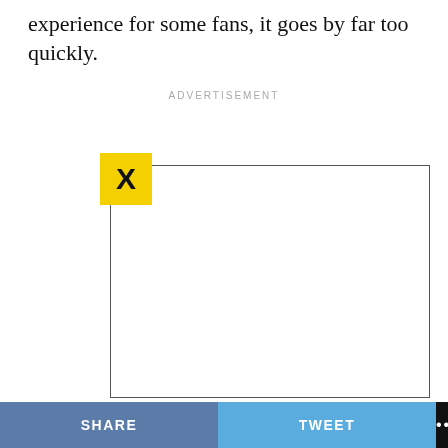experience for some fans, it goes by far too quickly.
ADVERTISEMENT
[Figure (other): Advertisement placeholder box with a yellow X close button in the top-left corner]
SHARE   TWEET   ...